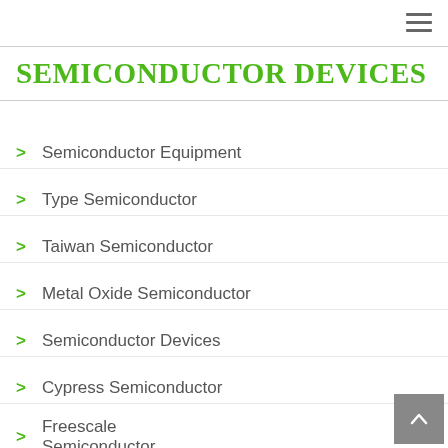SEMICONDUCTOR DEVICES
Semiconductor Equipment
Type Semiconductor
Taiwan Semiconductor
Metal Oxide Semiconductor
Semiconductor Devices
Cypress Semiconductor
Freescale Semiconductor
Nxp Semiconductors